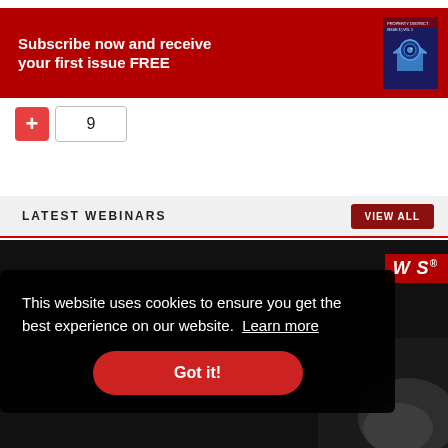[Figure (infographic): Red subscription banner with text 'Subscribe now and receive your first issue FREE' and a magazine cover image on the right showing a house with a camera eye icon]
[Figure (infographic): A red plus button and a count box showing the number 9]
LATEST WEBINARS
[Figure (screenshot): Dark webinar thumbnail image with 'WS' badge in red on the right side and a person visible in the lower right corner]
This website uses cookies to ensure you get the best experience on our website. Learn more
Got it!